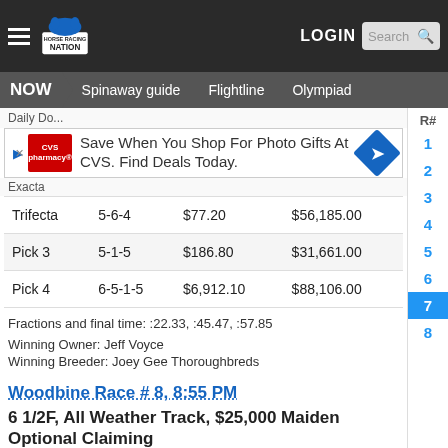Horse Racing Nation — LOGIN — Search
NOW | Spinaway guide | Flightline | Olympiad
[Figure (screenshot): CVS Pharmacy advertisement: Save When You Shop For Photo Gifts At CVS. Find Deals Today.]
Daily Do...
Exacta
|  | Combination | Payoff | Pool |
| --- | --- | --- | --- |
| Trifecta | 5-6-4 | $77.20 | $56,185.00 |
| Pick 3 | 5-1-5 | $186.80 | $31,661.00 |
| Pick 4 | 6-5-1-5 | $6,912.10 | $88,106.00 |
Fractions and final time: :22.33, :45.47, :57.85
Winning Owner: Jeff Voyce
Winning Breeder: Joey Gee Thoroughbreds
Woodbine Race # 8, 8:55 PM
6 1/2F, All Weather Track, $25,000 Maiden Optional Claiming
R#
1
2
3
4
5
6
7
8